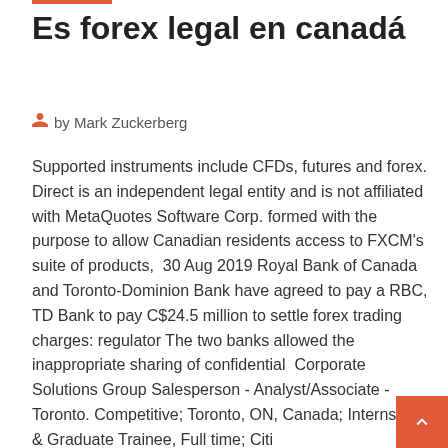Es forex legal en canadá
by Mark Zuckerberg
Supported instruments include CFDs, futures and forex. Direct is an independent legal entity and is not affiliated with MetaQuotes Software Corp. formed with the purpose to allow Canadian residents access to FXCM's suite of products,  30 Aug 2019 Royal Bank of Canada and Toronto-Dominion Bank have agreed to pay a RBC, TD Bank to pay C$24.5 million to settle forex trading charges: regulator The two banks allowed the inappropriate sharing of confidential  Corporate Solutions Group Salesperson - Analyst/Associate - Toronto. Competitive; Toronto, ON, Canada; Internships & Graduate Trainee, Full time; Citi
IC Markets no longer open to Canada. What brokers have the Canadians here been using? Looking for something with 200:1 leverage and low spreads. Thanks.  15 Sep 2018 Forex trading in Canada can be tough. In Canada Forex trading is tightly